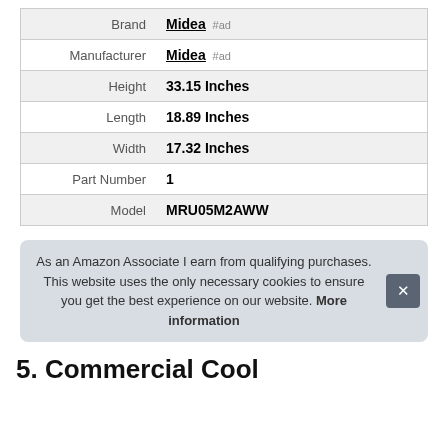|  |  |
| --- | --- |
| Brand | Midea #ad |
| Manufacturer | Midea #ad |
| Height | 33.15 Inches |
| Length | 18.89 Inches |
| Width | 17.32 Inches |
| Part Number | 1 |
| Model | MRU05M2AWW |
As an Amazon Associate I earn from qualifying purchases. This website uses the only necessary cookies to ensure you get the best experience on our website. More information
5. Commercial Cool